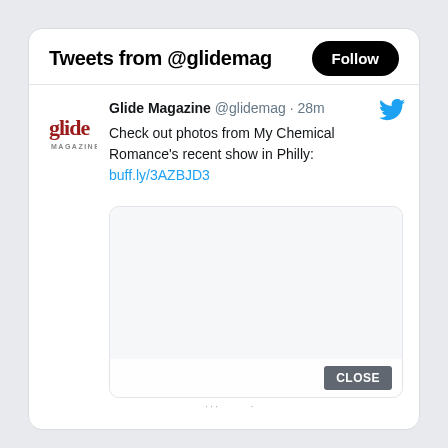Tweets from @glidemag
Glide Magazine @glidemag · 28m
Check out photos from My Chemical Romance's recent show in Philly: buff.ly/3AZBJD3
[Figure (screenshot): Embedded media card within tweet, showing a white/light grey area with a CLOSE button overlay at the bottom right]
... ·